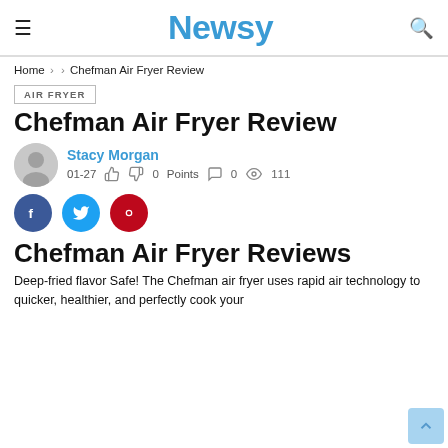Newsy
Home > > Chefman Air Fryer Review
AIR FRYER
Chefman Air Fryer Review
Stacy Morgan
01-27   0 Points   0   111
[Figure (illustration): Social sharing buttons: Facebook (dark blue circle), Twitter (light blue circle), Pinterest (dark red circle)]
Chefman Air Fryer Reviews
Deep-fried flavor Safe! The Chefman air fryer uses rapid air technology to quicker, healthier, and perfectly cook your